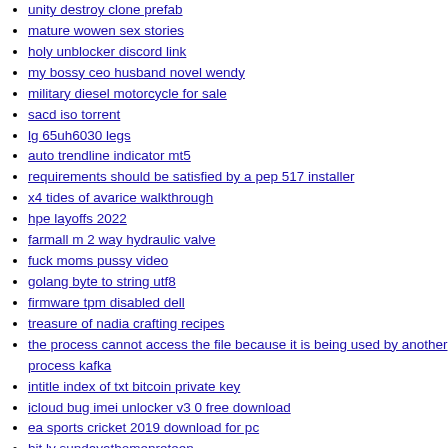unity destroy clone prefab
mature wowen sex stories
holy unblocker discord link
my bossy ceo husband novel wendy
military diesel motorcycle for sale
sacd iso torrent
lg 65uh6030 legs
auto trendline indicator mt5
requirements should be satisfied by a pep 517 installer
x4 tides of avarice walkthrough
hpe layoffs 2022
farmall m 2 way hydraulic valve
fuck moms pussy video
golang byte to string utf8
firmware tpm disabled dell
treasure of nadia crafting recipes
the process cannot access the file because it is being used by another process kafka
intitle index of txt bitcoin private key
icloud bug imei unlocker v3 0 free download
ea sports cricket 2019 download for pc
bit ly sundayathomepreteen
aamc salary tables 2022
tele latino cuentas gratis 2022
alpha smoker x reader
firefox callkeylogfile